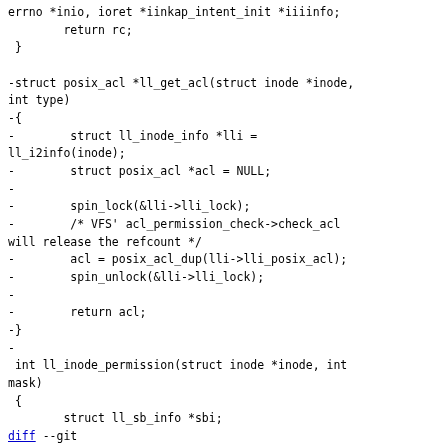errno *inio, ioret *iinkap_intent_init *iiiinfo;
        return rc;
 }

-struct posix_acl *ll_get_acl(struct inode *inode, int type)
-{
-        struct ll_inode_info *lli =
ll_i2info(inode);
-        struct posix_acl *acl = NULL;
-
-        spin_lock(&lli->lli_lock);
-        /* VFS' acl_permission_check->check_acl will release the refcount */
-        acl = posix_acl_dup(lli->lli_posix_acl);
-        spin_unlock(&lli->lli_lock);
-
-        return acl;
-}
-
 int ll_inode_permission(struct inode *inode, int mask)
 {
        struct ll_sb_info *sbi;
diff --git a/drivers/staging/lustre/lustre/llite/llite_interna. b/drivers/staging/lustre/lustre/llite/llite_interna.
index 379d88e..bdb1564 100644
---
a/drivers/staging/lustre/lustre/llite/llite_interna.
+++